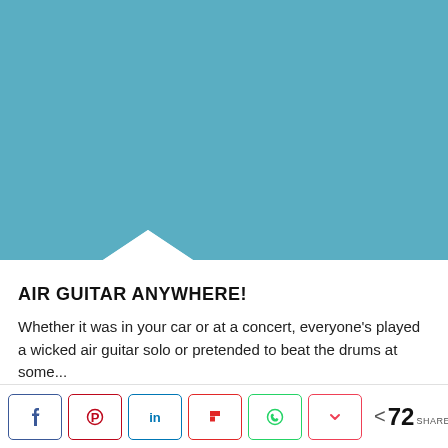[Figure (illustration): Blue/teal colored background area representing an image placeholder with a white downward chevron/arrow at the bottom edge]
AIR GUITAR ANYWHERE!
Whether it was in your car or at a concert, everyone's played a wicked air guitar solo or pretended to beat the drums at some...
[Figure (infographic): Social share bar with Facebook, Pinterest, LinkedIn, Flipboard, WhatsApp, Pocket buttons and a share count of 72 SHARES]